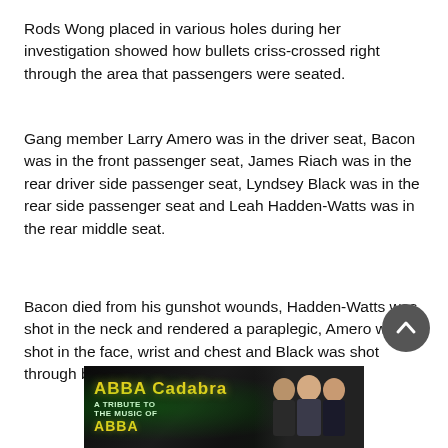Rods Wong placed in various holes during her investigation showed how bullets criss-crossed right through the area that passengers were seated.
Gang member Larry Amero was in the driver seat, Bacon was in the front passenger seat, James Riach was in the rear driver side passenger seat, Lyndsey Black was in the rear side passenger seat and Leah Hadden-Watts was in the rear middle seat.
Bacon died from his gunshot wounds, Hadden-Watts was shot in the neck and rendered a paraplegic, Amero was shot in the face, wrist and chest and Black was shot through both upper legs.
[Figure (illustration): Advertisement banner for ABBA Cadabra - A Tribute to the Music of ABBA, with yellow text on dark background and performers on the right side]